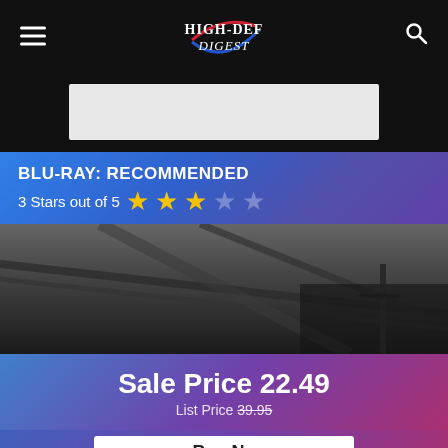High-Def Digest
[Figure (other): Gray advertisement placeholder banner]
BLU-RAY: RECOMMENDED
3 Stars out of 5
[Figure (photo): Dark grayscale movie still image with rope/chain elements]
Sale Price 22.49
List Price 39.95
Buy No...